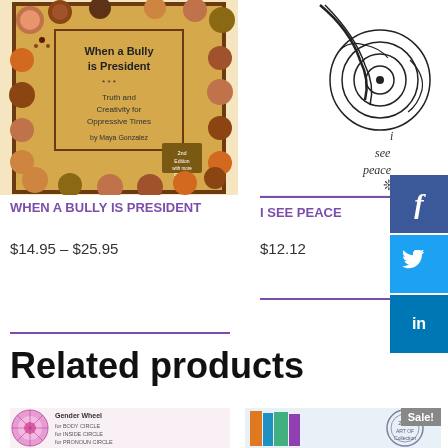[Figure (illustration): Book cover of 'When a Bully is President: Truth and Creativity for Oppressive Times' by Maya Gonzalez, 2nd Edition, with diverse illustrated child faces surrounding the title]
WHEN A BULLY IS PRESIDENT
$14.95 – $25.95
[Figure (illustration): Book cover of 'I See Peace' showing a hand-drawn spiral eye illustration with the text 'i see peace' and a snowflake symbol]
I SEE PEACE
$12.12
Related products
[Figure (illustration): Thumbnail of Gender Wheel product]
[Figure (illustration): Thumbnail of another product with Sale! badge]